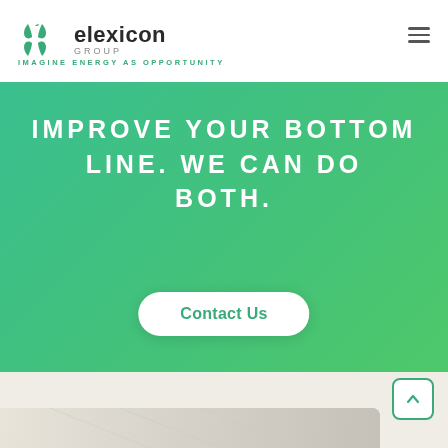elexicon GROUP — IMAGINE ENERGY AS OPPORTUNITY
IMPROVE YOUR BOTTOM LINE. WE CAN DO BOTH.
Contact Us